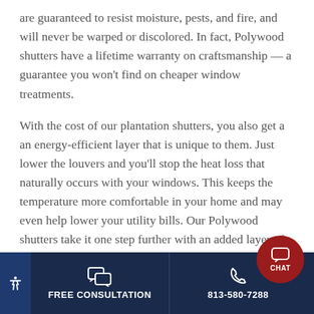are guaranteed to resist moisture, pests, and fire, and will never be warped or discolored. In fact, Polywood shutters have a lifetime warranty on craftsmanship — a guarantee you won't find on cheaper window treatments.
With the cost of our plantation shutters, you also get a an energy-efficient layer that is unique to them. Just lower the louvers and you'll stop the heat loss that naturally occurs with your windows. This keeps the temperature more comfortable in your home and may even help lower your utility bills. Our Polywood shutters take it one step further with an added layer of weather strippi...
FREE CONSULTATION | 813-580-7288